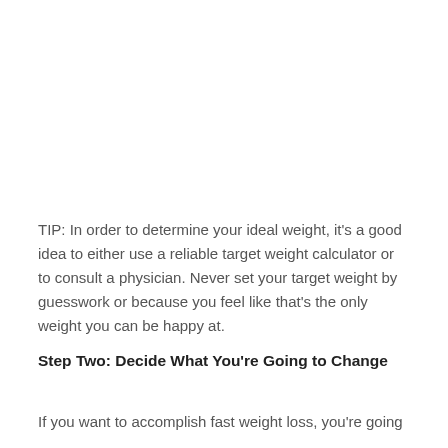TIP: In order to determine your ideal weight, it's a good idea to either use a reliable target weight calculator or to consult a physician. Never set your target weight by guesswork or because you feel like that's the only weight you can be happy at.
Step Two: Decide What You're Going to Change
If you want to accomplish fast weight loss, you're going